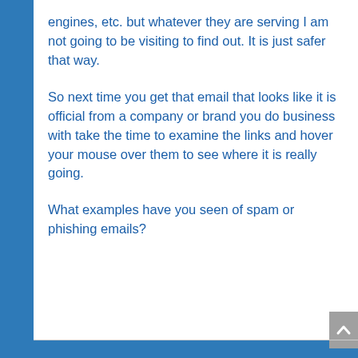engines, etc. but whatever they are serving I am not going to be visiting to find out.  It is just safer that way.
So next time you get that email that looks like it is official from a company or brand you do business with take the time to examine the links and hover your mouse over them to see where it is really going.
What examples have you seen of spam or phishing emails?